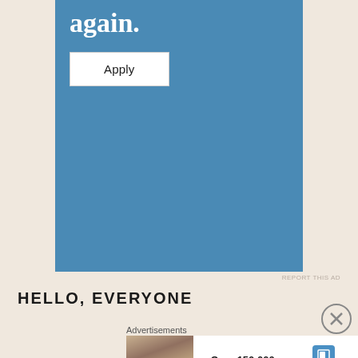[Figure (screenshot): Advertisement banner with blue background showing partial text 'again.' in white serif font and a white 'Apply' button]
REPORT THIS AD
HELLO, EVERYONE
[Figure (screenshot): Advertisement banner for Day One Journal showing a person on a hilltop with text 'Over 150,000 5-star reviews' and Day One Journal logo]
Advertisements